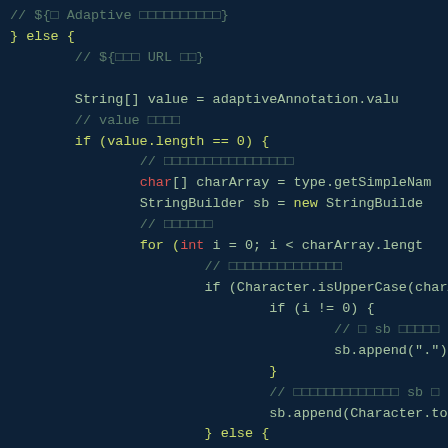[Figure (screenshot): Code editor screenshot showing Java code with syntax highlighting on a dark teal/navy background. Code shows an else block with string manipulation logic using adaptive annotation values, character arrays, and StringBuilder operations.]